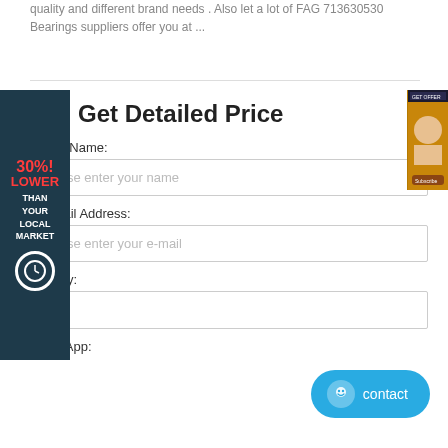quality and different brand needs . Also let a lot of FAG 713630530 Bearings suppliers offer you at ...
[Figure (infographic): Dark teal ad banner on left with text '30%! LOWER THAN YOUR LOCAL MARKET' and a clock icon]
[Figure (photo): Right side advertisement image showing a person, orange/brown colored]
Get Detailed Price
Your Name:
Please enter your name
* E-Mail Address:
Please enter your e-mail
Country:
WhatsApp:
[Figure (infographic): Blue contact button with smiley face icon and text 'contact']